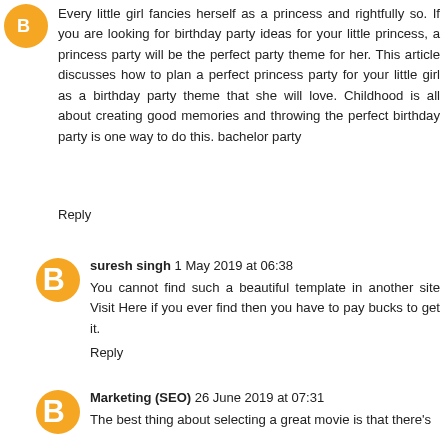Every little girl fancies herself as a princess and rightfully so. If you are looking for birthday party ideas for your little princess, a princess party will be the perfect party theme for her. This article discusses how to plan a perfect princess party for your little girl as a birthday party theme that she will love. Childhood is all about creating good memories and throwing the perfect birthday party is one way to do this. bachelor party
Reply
suresh singh 1 May 2019 at 06:38
You cannot find such a beautiful template in another site Visit Here if you ever find then you have to pay bucks to get it.
Reply
Marketing (SEO) 26 June 2019 at 07:31
The best thing about selecting a great movie is that there's